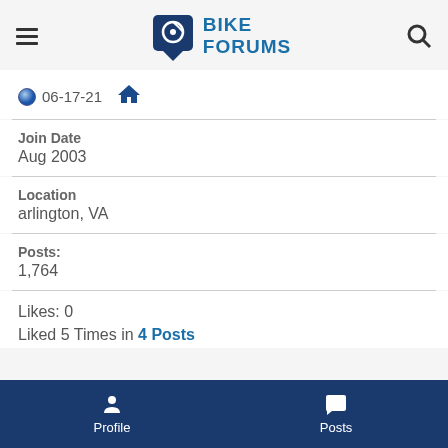Bike Forums
06-17-21
Join Date
Aug 2003
Location
arlington, VA
Posts:
1,764
Likes: 0
Liked 5 Times in 4 Posts
Profile  Posts